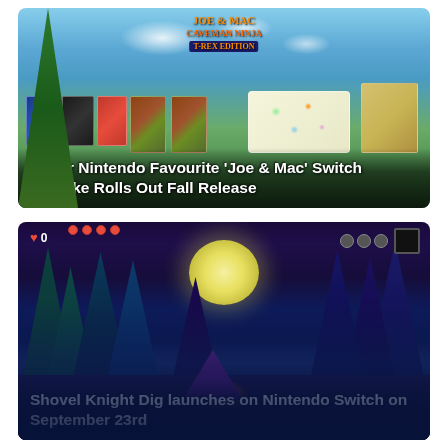[Figure (photo): Joe & Mac Caveman Ninja T-Rex Edition promotional image showing game boxes for PS4/PS5 and Nintendo Switch alongside sticker sheets, a guide book, and a keychain charm. Sky and jungle background.]
Super Nintendo Favourite 'Joe & Mac' Switch Remake Rolls Out Fall Release
[Figure (screenshot): Shovel Knight Dig gameplay screenshot showing a nighttime forest scene with crescent moon, purple and teal pine trees, campfire, and HUD elements including heart/life counter showing 0 lives.]
Shovel Knight Dig launches on Nintendo Switch on September 23rd